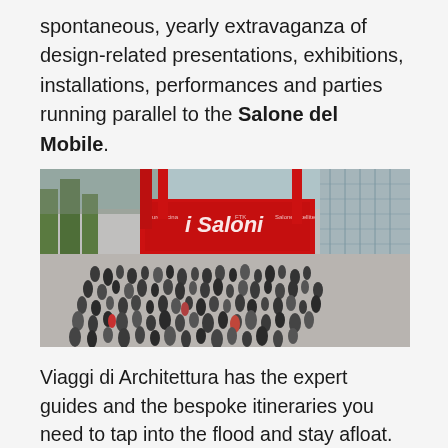spontaneous, yearly extravaganza of design-related presentations, exhibitions, installations, performances and parties running parallel to the Salone del Mobile.
[Figure (photo): Aerial view of a large crowd of people gathered outside the Salone del Mobile venue, with a prominent red banner/sign reading 'i Saloni'. Trees and a glass building are visible in the background.]
Viaggi di Architettura has the expert guides and the bespoke itineraries you need to tap into the flood and stay afloat. If it's the annual climax and the epitome of urban Milan as Design Capital, it's hardly limited to interiors and industrial design: today's Fuorisalone also embraces innovations in